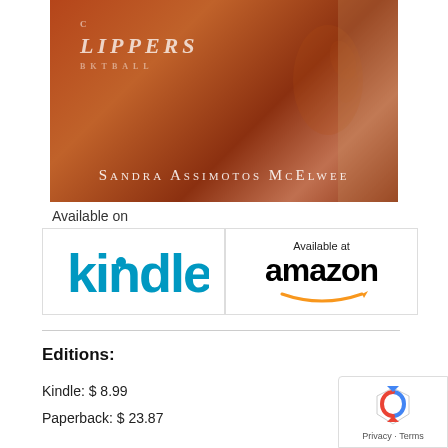[Figure (illustration): Book cover with sepia/brown toned image showing a person wearing a Clippers basketball jersey, with author name 'Sandra Assimotos McElwee' in small caps at the bottom]
Available on
[Figure (logo): Kindle logo in blue text]
[Figure (logo): Available at amazon logo with orange swoosh]
Editions:
Kindle: $ 8.99
Paperback: $ 23.87